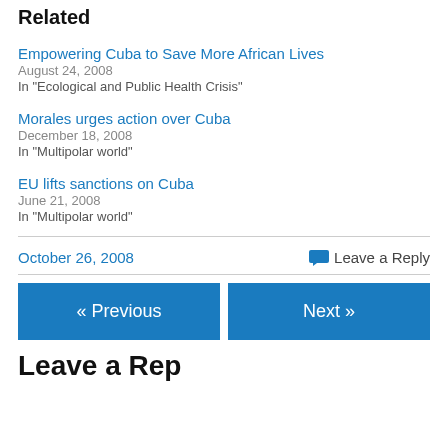Related
Empowering Cuba to Save More African Lives
August 24, 2008
In "Ecological and Public Health Crisis"
Morales urges action over Cuba
December 18, 2008
In "Multipolar world"
EU lifts sanctions on Cuba
June 21, 2008
In "Multipolar world"
October 26, 2008    Leave a Reply
« Previous    Next »
Leave a Reply